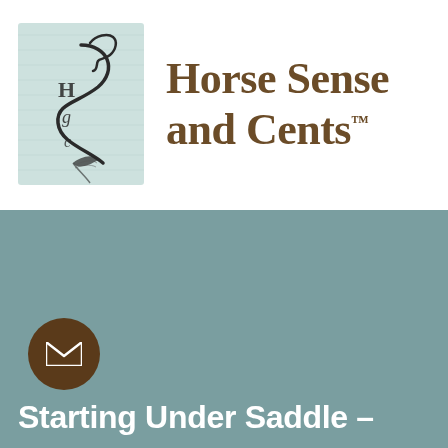[Figure (logo): Horse Sense and Cents logo: teal linen-textured square with a stylized horse and S-curl emblem on the left, and bold brown serif text 'Horse Sense and Cents™' on the right]
[Figure (other): Teal/muted green banner section with a brown circular email icon button on the lower left]
Starting Under Saddle –